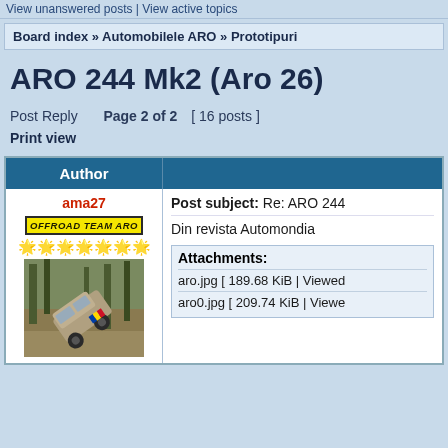View unanswered posts | View active topics
Board index » Automobilele ARO » Prototipuri
ARO 244 Mk2 (Aro 26)
Post Reply   Page 2 of 2 [ 16 posts ]
Print view
| Author | Post subject / Message |
| --- | --- |
| ama27 | OFFROAD TEAM ARO | [stars] | [avatar] | Post subject: Re: ARO 244
Din revista Automondia
Attachments:
aro.jpg [ 189.68 KiB | Viewed
aro0.jpg [ 209.74 KiB | Viewe |